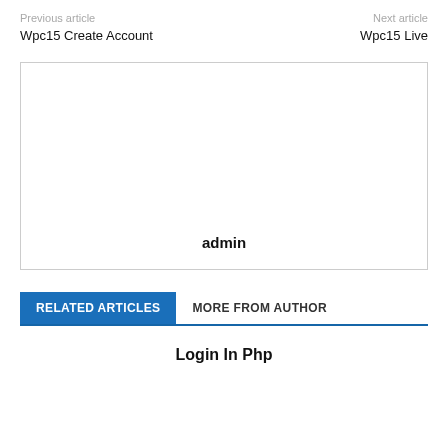Previous article | Next article
Wpc15 Create Account
Wpc15 Live
[Figure (other): Author box with centered bold text 'admin']
RELATED ARTICLES   MORE FROM AUTHOR
Login In Php